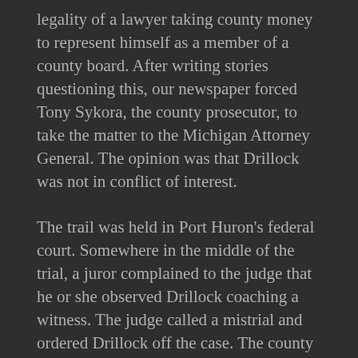legality of a lawyer taking county money to represent himself as a member of a county board. After writing stories questioning this, our newspaper forced Tony Sykora, the county prosecutor, to take the matter to the Michigan Attorney General. The opinion was that Drillock was not in conflict of interest.
The trail was held in Port Huron's federal court. Somewhere in the middle of the trial, a juror complained to the judge that he or she observed Drillock coaching a witness. The judge called a mistrial and ordered Drillock off the case. The county hired a high-cost law firm out of Detroit to replace Drillock and tried again. Lucas won the lawsuit and the settlement almost bankrupted the county.
I remember one Mental Health Board meeting when Drillock showed up wearing a toupee. It was a silly-looking thing, but he had it on, trying to cover his middle-aged baldness. Sometime during that meeting he made a snide